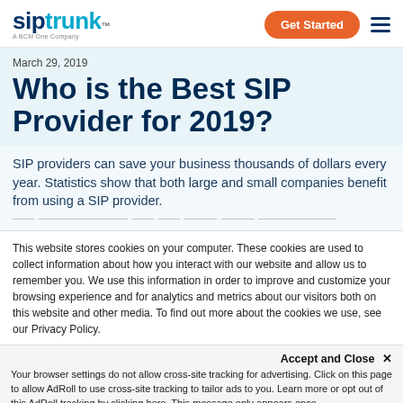siptrunk. A BCM One Company | Get Started
March 29, 2019
Who is the Best SIP Provider for 2019?
SIP providers can save your business thousands of dollars every year. Statistics show that both large and small companies benefit from using a SIP provider.
This website stores cookies on your computer. These cookies are used to collect information about how you interact with our website and allow us to remember you. We use this information in order to improve and customize your browsing experience and for analytics and metrics about our visitors both on this website and other media. To find out more about the cookies we use, see our Privacy Policy.
Accept and Close ✕
Your browser settings do not allow cross-site tracking for advertising. Click on this page to allow AdRoll to use cross-site tracking to tailor ads to you. Learn more or opt out of this AdRoll tracking by clicking here. This message only appears once.